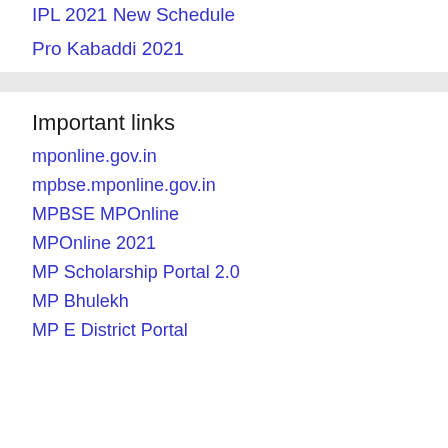IPL 2021 New Schedule
Pro Kabaddi 2021
Important links
mponline.gov.in
mpbse.mponline.gov.in
MPBSE MPOnline
MPOnline 2021
MP Scholarship Portal 2.0
MP Bhulekh
MP E District Portal